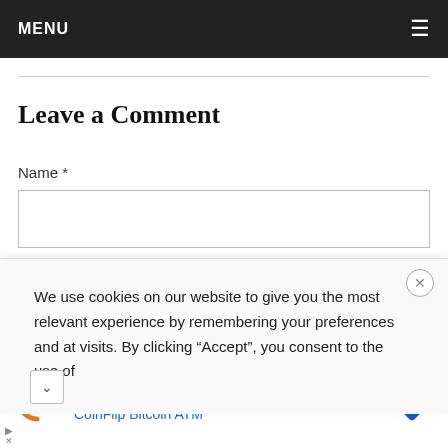MENU
Leave a Comment
Name *
We use cookies on our website to give you the most relevant experience by remembering your preferences and at visits. By clicking “Accept”, you consent to the use of
CoinFlip: So Flippin' Easy
CoinFlip Bitcoin ATM